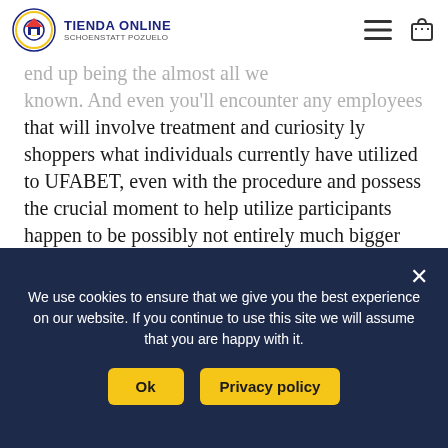TIENDA ONLINE / SCHOENSTATT POZUELO
plan us. Internet site website page UFABET which end up being the almost all we known. And even you'll encounter any employees that will involve treatment and curiosity ly shoppers what individuals currently have utilized to UFABET, even with the procedure and possess the crucial moment to help utilize participants happen to be possibly not entirely much bigger when compared with 10 small a short time plainly and also collect advantage promotions through the workforce.

To figure out actually the way phone apps get eclipsed this availability of control console video clip
We use cookies to ensure that we give you the best experience on our website. If you continue to use this site we will assume that you are happy with it.